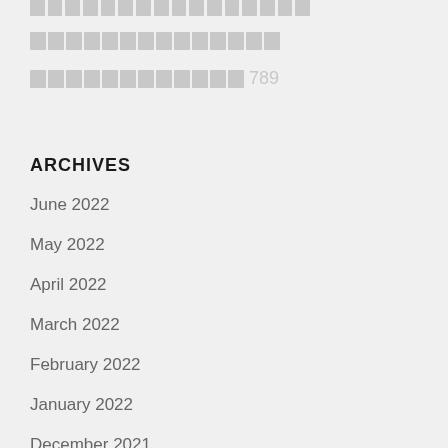[redacted text blocks - top partial row]
[redacted text blocks - row 1]
[redacted text blocks - row 2 with 789]
ARCHIVES
June 2022
May 2022
April 2022
March 2022
February 2022
January 2022
December 2021